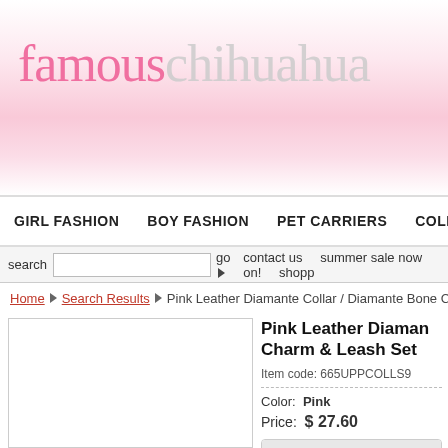[Figure (logo): famouschihuahua logo on pink floral gradient background]
GIRL FASHION   BOY FASHION   PET CARRIERS   COLLARS & LEA
search  [input]  go ▶  contact us  summer sale now on!  shop
Home ▶ Search Results ▶ Pink Leather Diamante Collar / Diamante Bone Charm &
[Figure (photo): Product image placeholder (white box)]
Pink Leather Diamante Collar / Diamante Bone Charm & Leash Set
Item code: 665UPPCOLLS9
Color: Pink
Price: $ 27.60
Product info
Sparkling Bling Collar & collar with a stitched edgi three large / bling spa